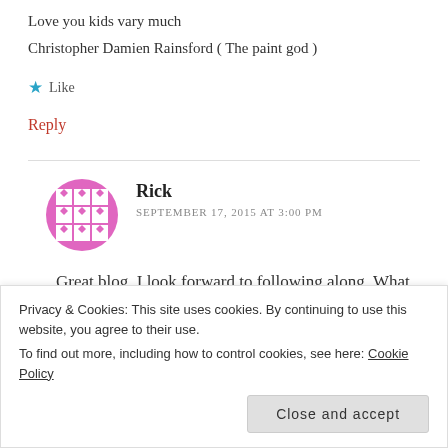Love you kids vary much
Christopher Damien Rainsford ( The paint god )
★ Like
Reply
Rick
SEPTEMBER 17, 2015 AT 3:00 PM
Great blog. I look forward to following along. What kind of art is your passion to work with?
Privacy & Cookies: This site uses cookies. By continuing to use this website, you agree to their use.
To find out more, including how to control cookies, see here: Cookie Policy
Close and accept